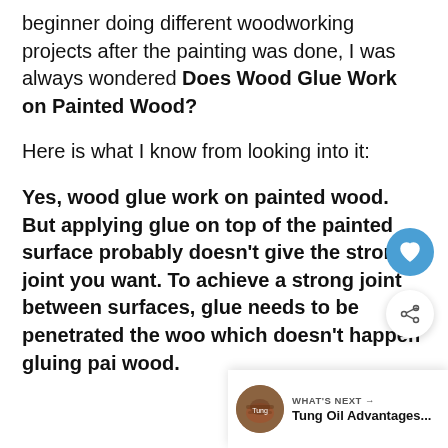beginner doing different woodworking projects after the painting was done, I was always wondered Does Wood Glue Work on Painted Wood?
Here is what I know from looking into it:
Yes, wood glue work on painted wood. But applying glue on top of the painted surface probably doesn't give the strong joint you want. To achieve a strong joint between surfaces, glue needs to be penetrated the wood which doesn't happen gluing painted wood.